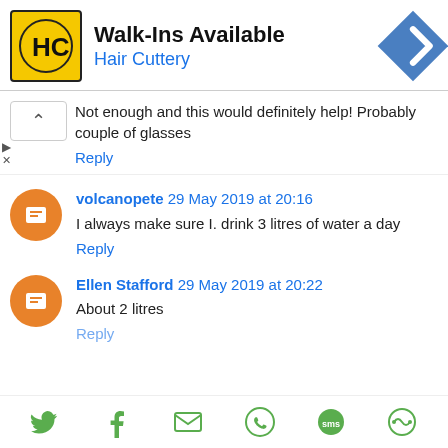[Figure (logo): Hair Cuttery advertisement banner with HC logo, Walk-Ins Available text, and navigation arrow icon]
Not enough and this would definitely help! Probably couple of glasses
Reply
volcanopete 29 May 2019 at 20:16
I always make sure I. drink 3 litres of water a day
Reply
Ellen Stafford 29 May 2019 at 20:22
About 2 litres
Reply
[Figure (infographic): Social sharing bar with Twitter, Facebook, Email, WhatsApp, SMS, and another icon in green]